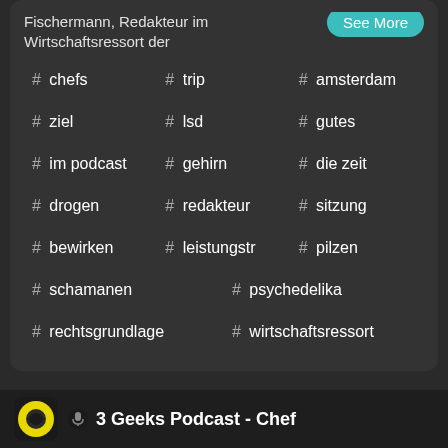Fischermann, Redakteur im Wirtschaftsressort der
See More
# chefs
# trip
# amsterdam
# ziel
# lsd
# gutes
# im podcast
# gehirn
# die zeit
# drogen
# redakteur
# sitzung
# bewirken
# leistungstr
# pilzen
# schamanen
# psychedelika
# rechtsgrundlage
# wirtschaftsressort
3 Geeks Podcast - Chef